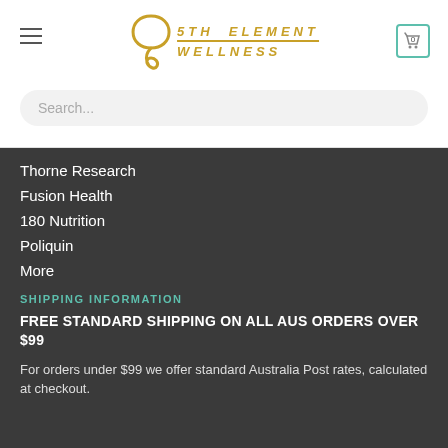5TH ELEMENT WELLNESS — navigation header with logo, hamburger menu, cart icon showing 0, and search bar
Thorne Research
Fusion Health
180 Nutrition
Poliquin
More
SHIPPING INFORMATION
FREE STANDARD SHIPPING ON ALL AUS ORDERS OVER $99
For orders under $99 we offer standard Australia Post rates, calculated at checkout.